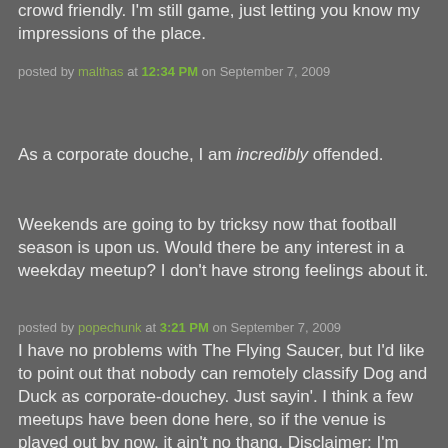crowd friendly. I'm still game, just letting you know my impressions of the place.
posted by malthas at 12:34 PM on September 7, 2009
As a corporate douche, I am incredibly offended.
Weekends are going to by tricksy now that football season is upon us. Would there be any interest in a weekday meetup? I don't have strong feelings about it.
posted by popechunk at 3:21 PM on September 7, 2009
I have no problems with The Flying Saucer, but I'd like to point out that nobody can remotely classify Dog and Duck as corporate-douchey. Just sayin'. I think a few meetups have been done here, so if the venue is played out by now, it ain't no thang. Disclaimer: I'm currently studying at the bar here now. Well, taking a break from studying just to check this thread,